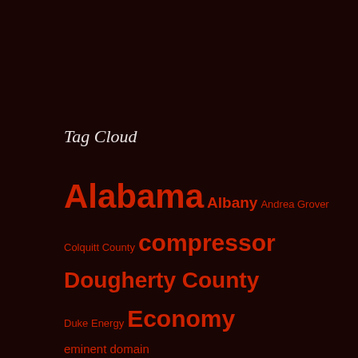Tag Cloud
[Figure (infographic): Tag cloud showing various terms related to energy, environment, and government topics including Alabama, Albany, Andrea Grover, Colquitt County, compressor, Dougherty County, Duke Energy, Economy, eminent domain, environment, Ethics, explosion, export, FE, FERC, Florida, Florida Southeast Connection, FPL, Fracking, Georgia, Hazards, Health, Hillabee Expansion Project — displayed in varying sizes indicating frequency/importance on a dark red background]